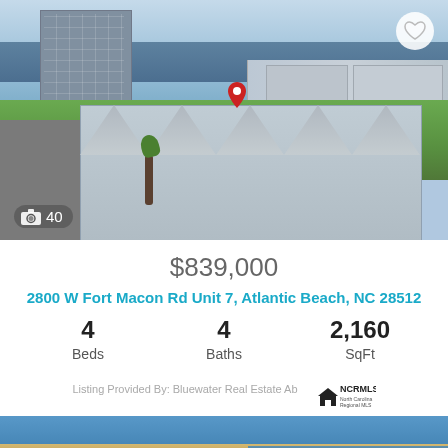[Figure (photo): Aerial photo of beachside townhouse community near Atlantic Beach, NC. Shows gray-roofed townhouses, green lawn, ocean in background, larger condo buildings visible. Red location pin marker visible on roof. Camera icon with count '40' in bottom left corner.]
$839,000
2800 W Fort Macon Rd Unit 7, Atlantic Beach, NC 28512
4 Beds
4 Baths
2,160 SqFt
Listing Provided By: Bluewater Real Estate Ab
[Figure (photo): Aerial photo of Atlantic Beach, NC coastal community, showing beach, ocean, and various residential buildings from above. Red location pin visible.]